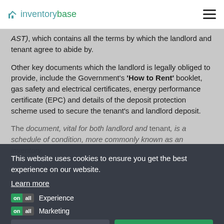inventorybase
AST), which contains all the terms by which the landlord and tenant agree to abide by.
Other key documents which the landlord is legally obliged to provide, include the Government's 'How to Rent' booklet, gas safety and electrical certificates, energy performance certificate (EPC) and details of the deposit protection scheme used to secure the tenant's and landlord deposit.
The document, vital for both landlord and tenant, is a schedule of condition, more commonly known as an inventory.
This website uses cookies to ensure you get the best experience on our website.
Learn more
Experience
Marketing
Save Settings   Allow
This is an immensely detailed, evidence-rich document that records the condition of the property, its fixtures, fittings, contents and most importantly the condition of all the util for room